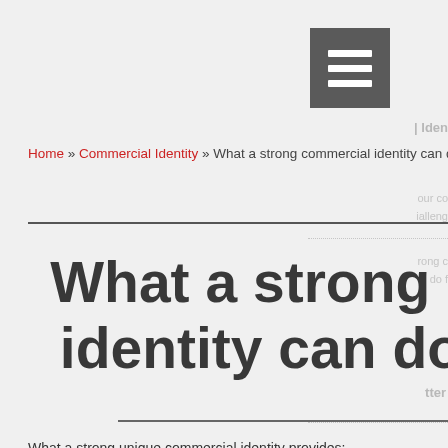[Figure (other): Menu/list icon - dark grey square with horizontal list lines in white]
Iden
our co
alleng
rong c
n do f
Home » Commercial Identity » What a strong commercial identity can do for you
What a strong commercial identity can do for you
What a strong unique commercial identity provides:
A simple truth to act as the backbone for marketing